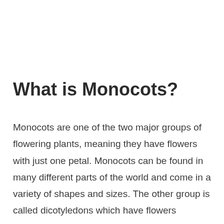What is Monocots?
Monocots are one of the two major groups of flowering plants, meaning they have flowers with just one petal. Monocots can be found in many different parts of the world and come in a variety of shapes and sizes. The other group is called dicotyledons which have flowers